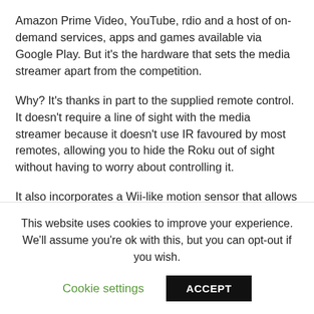Amazon Prime Video, YouTube, rdio and a host of on-demand services, apps and games available via Google Play. But it's the hardware that sets the media streamer apart from the competition.
Why? It's thanks in part to the supplied remote control. It doesn't require a line of sight with the media streamer because it doesn't use IR favoured by most remotes, allowing you to hide the Roku out of sight without having to worry about controlling it.
It also incorporates a Wii-like motion sensor that allows you to play games by waving the remote around, and offers a headphone jack for late-night movie binges that won't wake up
This website uses cookies to improve your experience. We'll assume you're ok with this, but you can opt-out if you wish.
Cookie settings   ACCEPT